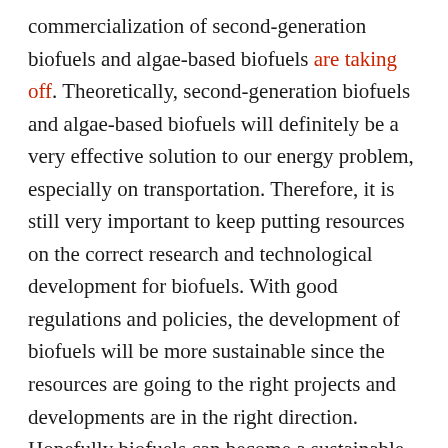commercialization of second-generation biofuels and algae-based biofuels are taking off. Theoretically, second-generation biofuels and algae-based biofuels will definitely be a very effective solution to our energy problem, especially on transportation. Therefore, it is still very important to keep putting resources on the correct research and technological development for biofuels. With good regulations and policies, the development of biofuels will be more sustainable since the resources are going to the right projects and developments are in the right direction. Hopefully biofuels can become a sustainable source of green energy for land, aviation and marine transportation.